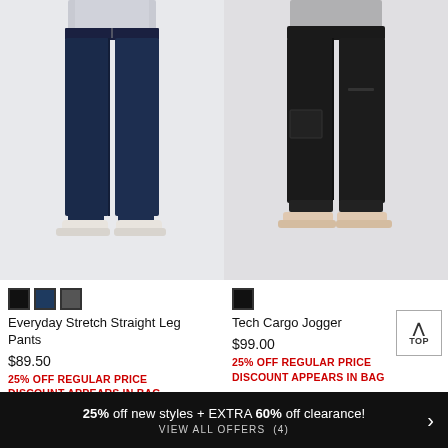[Figure (photo): Woman wearing navy blue straight leg pants with white sneakers, product photo on white background]
[Figure (photo): Woman wearing black tech cargo jogger pants with beige slip-on shoes, product photo on white background]
Everyday Stretch Straight Leg Pants
$89.50
25% OFF REGULAR PRICE DISCOUNT APPEARS IN BAG
Tech Cargo Jogger
$99.00
25% OFF REGULAR PRICE DISCOUNT APPEARS IN BAG
25% off new styles + EXTRA 60% off clearance! VIEW ALL OFFERS (4)